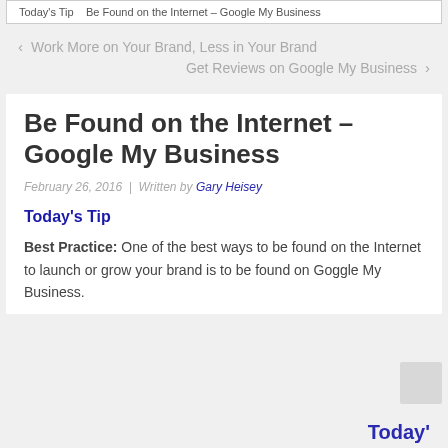Today's Tip   Be Found on the Internet – Google My Business
< Work More on Your Brand, Less in Your Brand
Get Reviews on Google My Business >
Be Found on the Internet – Google My Business
February 26, 2016  |  Written by Gary Heisey
Today's Tip
Best Practice: One of the best ways to be found on the Internet to launch or grow your brand is to be found on Goggle My Business.
Today'